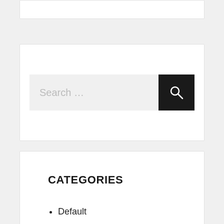[Figure (screenshot): Partial top widget card, white background with border, cropped at top of page]
[Figure (screenshot): Search widget card with a search input field showing placeholder 'Search ...' and a black search button with magnifying glass icon]
CATEGORIES
Default
RECENT POSTS